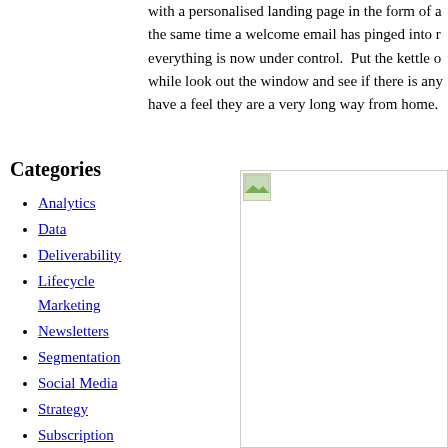with a personalised landing page in the form of a the same time a welcome email has pinged into r everything is now under control.  Put the kettle o while look out the window and see if there is any have a feel they are a very long way from home.
Categories
Analytics
Data
Deliverability
Lifecycle Marketing
Newsletters
Segmentation
Social Media
Strategy
Subscription Forms
Our Archives
[Figure (screenshot): Small image icon in top-left of right column area]